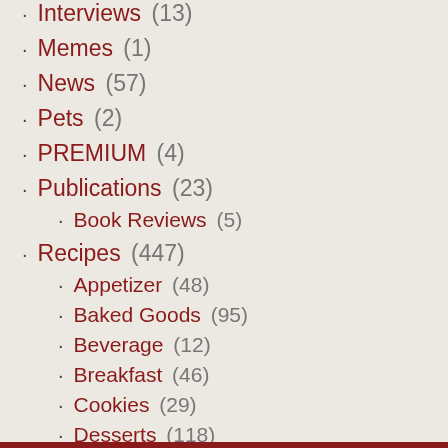Interviews (13)
Memes (1)
News (57)
Pets (2)
PREMIUM (4)
Publications (23)
Book Reviews (5)
Recipes (447)
Appetizer (48)
Baked Goods (95)
Beverage (12)
Breakfast (46)
Cookies (29)
Desserts (118)
Dinner (34)
Entrees (108)
GFCF Recipes (47)
Lunch (40)
Muffins (7)
Salad (18)